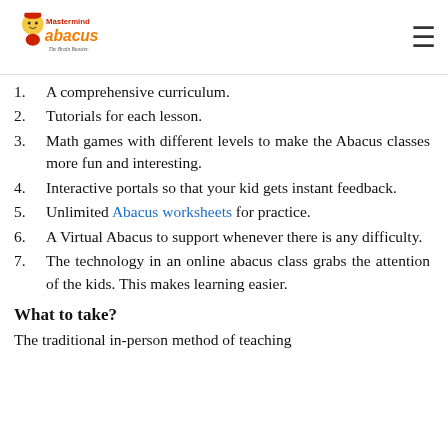Mastermind Abacus – The Brain Booster
1.   A comprehensive curriculum.
2.   Tutorials for each lesson.
3.   Math games with different levels to make the Abacus classes more fun and interesting.
4.   Interactive portals so that your kid gets instant feedback.
5.   Unlimited Abacus worksheets for practice.
6.   A Virtual Abacus to support whenever there is any difficulty.
7.   The technology in an online abacus class grabs the attention of the kids. This makes learning easier.
What to take?
The traditional in-person method of teaching